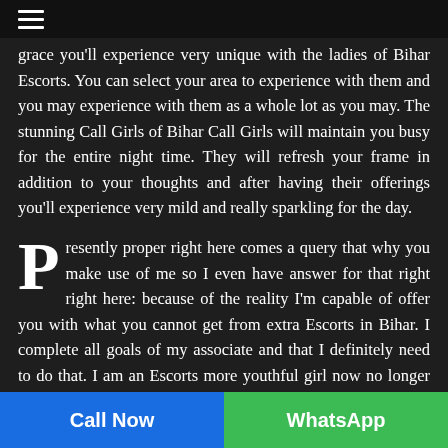≡
grace you'll experience very unique with the ladies of Bihar Escorts. You can select your area to experience with them and you may experience with them as a whole lot as you may. The stunning Call Girls of Bihar Call Girls will maintain you busy for the entire night time. They will refresh your frame in addition to your thoughts and after having their offerings you'll experience very mild and really sparkling for the day.
Presently proper right here comes a query that why you make use of me so I even have answer for that right right here: because of the reality I'm capable of offer you with what you cannot get from extra Escorts in Bihar. I complete all goals of my associate and that I definitely need to do that. I am an Escorts more youthful girl now no longer best for cash;
Call Now   WhatsApp